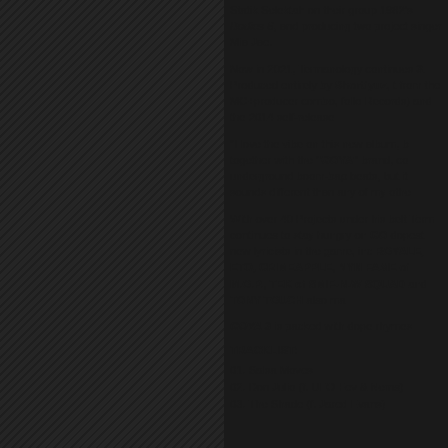Statik Selektah on their group 1982's Bodies 6, and producing two projects for singer Mia Jae.
Now in 2021, Termanology continues with GOYA 3. Produced entirely by Shortfyuz, the third release from the MC+producer combo, following GOYA 2 (Brick Records) and the 2014 self-release GOYA.
"I love the vibe on this new album, bringing it together with the "GOYA" brand, continuing the underground boom-bap beats, but it definitely sounds different than any of my other projects."
With over 40 Projects under his belt today, Term continues to stay hungry on GOYA 3 with the dopest new lyricists in the game, including BENNY THE BUTCHER, FLEE LORD, RANSOM, CASH ROYALE, ETO, CRIMEAPPLE, NYMLO, BILLY FAME of M.O.P., TEK of SMIF-N-WESSUN, BROWN SQUAD and TONY TOUCH also makes an appearance.
GOYA 3 is packed with dope rhymes and beats.
TRACKLIST:
01. Salsa Moves
02. Don Julio (f. UFO Fev & Nems)
03. The Shade (f. Jared Evans)